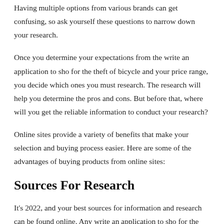Having multiple options from various brands can get confusing, so ask yourself these questions to narrow down your research.
Once you determine your expectations from the write an application to sho for the theft of bicycle and your price range, you decide which ones you must research. The research will help you determine the pros and cons. But before that, where will you get the reliable information to conduct your research?
Online sites provide a variety of benefits that make your selection and buying process easier. Here are some of the advantages of buying products from online sites:
Sources For Research
It's 2022, and your best sources for information and research can be found online. Any write an application to sho for the theft of bicycleand you will find the best selling online marketplaces available.Visit any or each of them to learn about the specifications